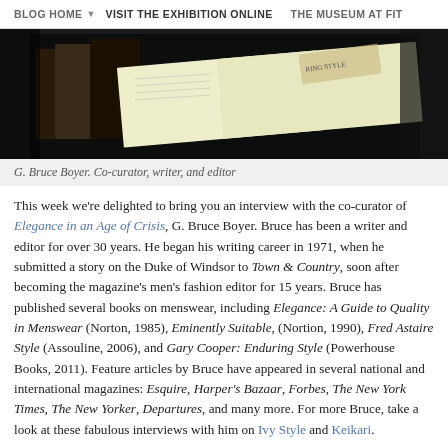BLOG HOME  VISIT THE EXHIBITION ONLINE  THE MUSEUM AT FIT
[Figure (photo): Dark photograph showing books, partially visible, with a reflective surface]
G. Bruce Boyer. Co-curator, writer, and editor
This week we're delighted to bring you an interview with the co-curator of Elegance in an Age of Crisis, G. Bruce Boyer. Bruce has been a writer and editor for over 30 years. He began his writing career in 1971, when he submitted a story on the Duke of Windsor to Town & Country, soon after becoming the magazine's men's fashion editor for 15 years. Bruce has published several books on menswear, including Elegance: A Guide to Quality in Menswear (Norton, 1985), Eminently Suitable, (Nortion, 1990), Fred Astaire Style (Assouline, 2006), and Gary Cooper: Enduring Style (Powerhouse Books, 2011). Feature articles by Bruce have appeared in several national and international magazines: Esquire, Harper's Bazaar, Forbes, The New York Times, The New Yorker, Departures, and many more. For more Bruce, take a look at these fabulous interviews with him on Ivy Style and Keikari.